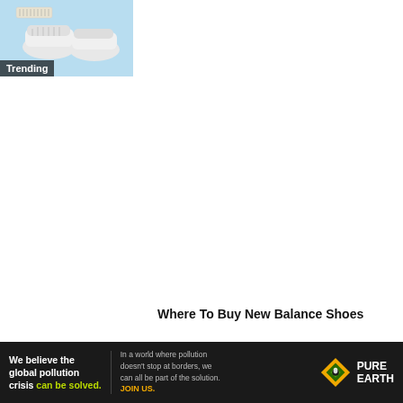[Figure (photo): Trending thumbnail showing white sneakers/New Balance shoes on a blue background with a dark 'Trending' label overlay]
Where To Buy New Balance Shoes
October 23, 2021
[Figure (photo): Small thumbnail of dark/black shoes partially visible]
[Figure (infographic): Pure Earth advertisement banner: 'We believe the global pollution crisis can be solved.' with Pure Earth logo]